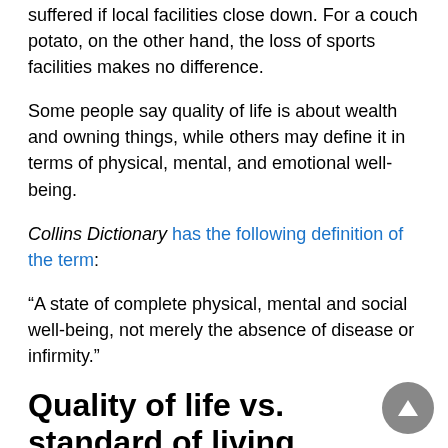suffered if local facilities close down. For a couch potato, on the other hand, the loss of sports facilities makes no difference.
Some people say quality of life is about wealth and owning things, while others may define it in terms of physical, mental, and emotional well-being.
Collins Dictionary has the following definition of the term:
“A state of complete physical, mental and social well-being, not merely the absence of disease or infirmity.”
Quality of life vs. standard of living
We can use the term in several different contexts, including politics, economic or international development, and healthcare.